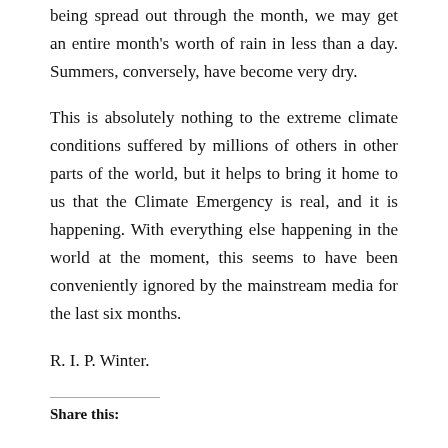being spread out through the month, we may get an entire month's worth of rain in less than a day. Summers, conversely, have become very dry.
This is absolutely nothing to the extreme climate conditions suffered by millions of others in other parts of the world, but it helps to bring it home to us that the Climate Emergency is real, and it is happening. With everything else happening in the world at the moment, this seems to have been conveniently ignored by the mainstream media for the last six months.
R. I. P. Winter.
Share this: